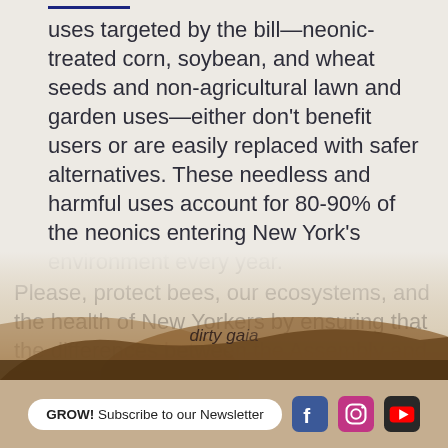uses targeted by the bill—neonic-treated corn, soybean, and wheat seeds and non-agricultural lawn and garden uses—either don't benefit users or are easily replaced with safer alternatives. These needless and harmful uses account for 80-90% of the neonics entering New York's environment every year.
Please, protect bees, our ecosystems, and the health of New Yorkers by ensuring that the differences between the Assembly and Senate drafts of the Birds and Bees (A39A/S699C) are
[Figure (illustration): Sepia-toned watercolor landscape with mountains or hills at the bottom of the page, serving as a decorative background overlay. Text 'dirty gaia' appears over the image.]
GROW! Subscribe to our Newsletter [Facebook] [Instagram] [YouTube]